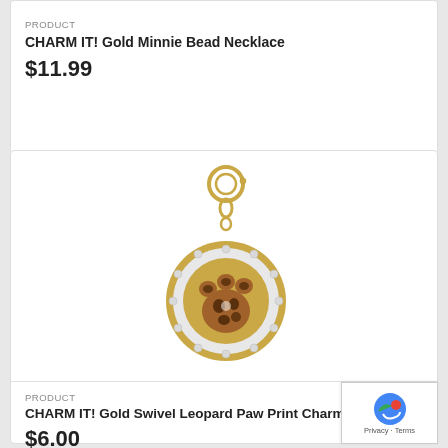PRODUCT
CHARM IT! Gold Minnie Bead Necklace
$11.99
[Figure (photo): Gold swivel leopard paw print charm jewelry with rhinestone halo border on a gold circular disc, suspended from a spring ring clasp]
PRODUCT
CHARM IT! Gold Swivel Leopard Paw Print Charm
$6.00